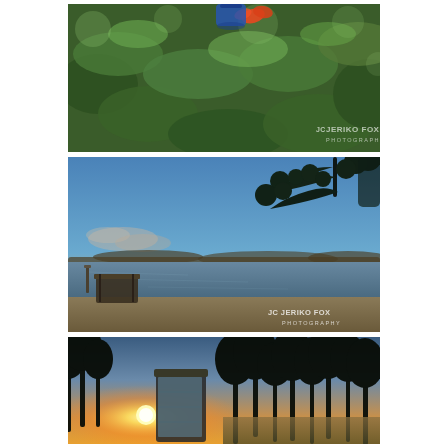[Figure (photo): Close-up macro photo of green leaves with a small orange flower and a blue object (bottle/can) partially visible. Watermark: JERIKO FOX PHOTOGRAPHY in bottom-right.]
[Figure (photo): Panoramic lakeside sunset/dusk landscape photo. Sandy beach with a small wooden dock/platform on the left, calm water, distant tree-lined shore, blue sky with light clouds, pine tree branches hanging from upper right. Watermark: JERIKO FOX PHOTOGRAPHY in bottom-right.]
[Figure (photo): Panoramic sunset photo with silhouettes of tall pine trees, golden sun setting low on the horizon, a wooden structure (sauna or shed) with a blue/grey wall in the center-left, reflections on water to the right.]